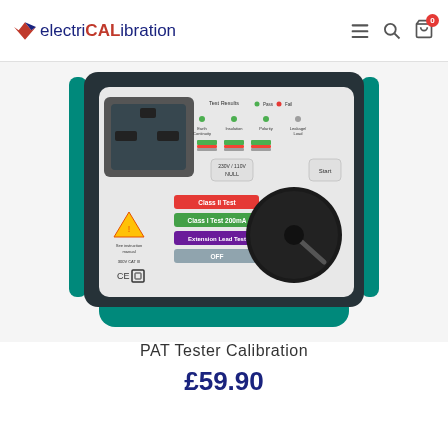electriCALibration
[Figure (photo): PAT Tester device showing front panel with rotary switch, test result indicators, mains socket, and settings including Class II Test, Class I Test 200mA, Extension Lead Test, and OFF positions.]
PAT Tester Calibration
£59.90